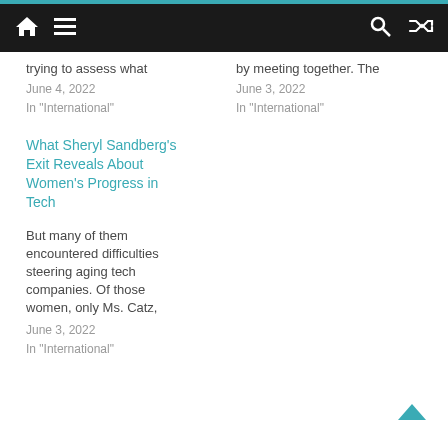Navigation bar with home, menu, search, and shuffle icons
trying to assess what
June 4, 2022
In "International"
by meeting together. The
June 3, 2022
In "International"
What Sheryl Sandberg's Exit Reveals About Women's Progress in Tech
But many of them encountered difficulties steering aging tech companies. Of those women, only Ms. Catz,
June 3, 2022
In "International"